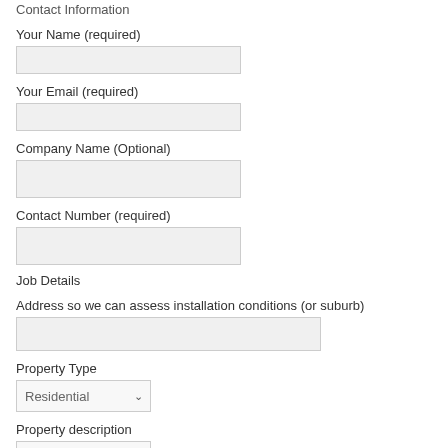Contact Information
Your Name (required)
Your Email (required)
Company Name (Optional)
Contact Number (required)
Job Details
Address so we can assess installation conditions (or suburb)
Property Type
Property description